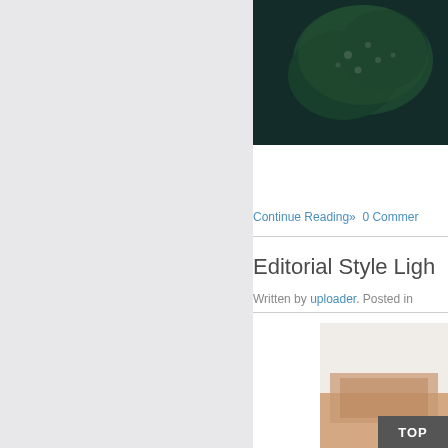[Figure (photo): Dark green foliage/tree photo, cropped at top right of page]
Continue Reading»  0 Commen
Editorial Style Ligh
Written by uploader. Posted in
[Figure (photo): Partial photo of a room interior, cropped at bottom right]